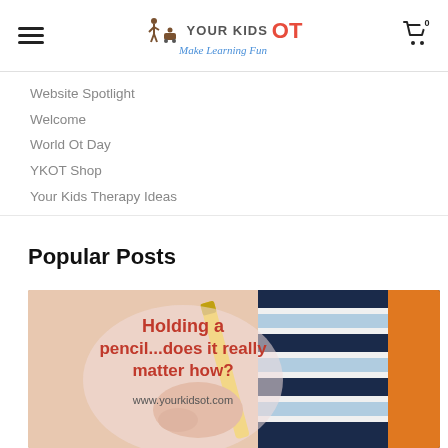YOUR KIDS OT — Make Learning Fun
Website Spotlight
Welcome
World Ot Day
YKOT Shop
Your Kids Therapy Ideas
Popular Posts
[Figure (photo): Blog post thumbnail image with text overlay reading 'Holding a pencil...does it really matter how?' and 'www.yourkidsot.com', showing a child's hand holding a yellow pencil.]